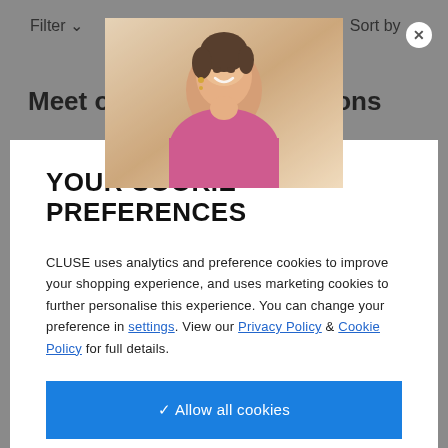[Figure (screenshot): Background webpage showing Filter and Sort by controls, and partial heading 'Meet o...ections', overlaid by a cookie consent modal. The modal contains a photo of a smiling woman, a close button, a title 'YOUR COOKIE PREFERENCES', body text about analytics and marketing cookies, links to settings, Privacy Policy and Cookie Policy, and a blue 'Allow all cookies' button.]
YOUR COOKIE PREFERENCES
CLUSE uses analytics and preference cookies to improve your shopping experience, and uses marketing cookies to further personalise this experience. You can change your preference in settings. View our Privacy Policy & Cookie Policy for full details.
✓ Allow all cookies